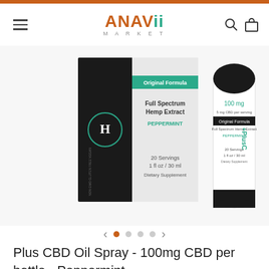ANAVII MARKET
[Figure (photo): Product photo showing Plus CBD Oil Spray box (black, with Original Formula Full Spectrum Hemp Extract Peppermint label, 20 Servings 1 fl oz / 30 ml) and bottle side by side against white background]
Plus CBD Oil Spray - 100mg CBD per bottle - Peppermint
PlusCBD Oil